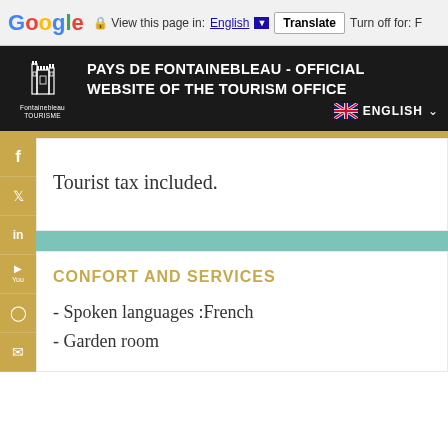Google — View this page in: English [▼] Translate Turn off for: F
PAYS DE FONTAINEBLEAU - OFFICIAL WEBSITE OF THE TOURISM OFFICE — ENGLISH
Tourist tax included.
CONFORT AND SERVICES
- Spoken languages :French
- Garden room